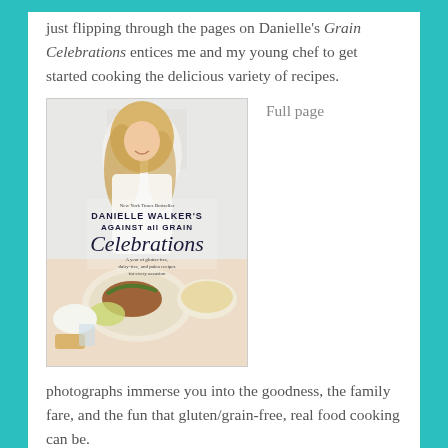just flipping through the pages on Danielle's Grain Celebrations entices me and my young chef to get started cooking the delicious variety of recipes.
[Figure (photo): Book cover of Danielle Walker's Against All Grain: Celebrations — A year of gluten-free, dairy-free, and paleo recipes for every occasion. Shows a smiling blonde woman in a white outfit presenting a table of food dishes.]
Full page
photographs immerse you into the goodness, the family fare, and the fun that gluten/grain-free, real food cooking can be.